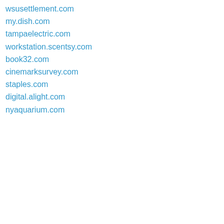wsusettlement.com
my.dish.com
tampaelectric.com
workstation.scentsy.com
book32.com
cinemarksurvey.com
staples.com
digital.alight.com
nyaquarium.com